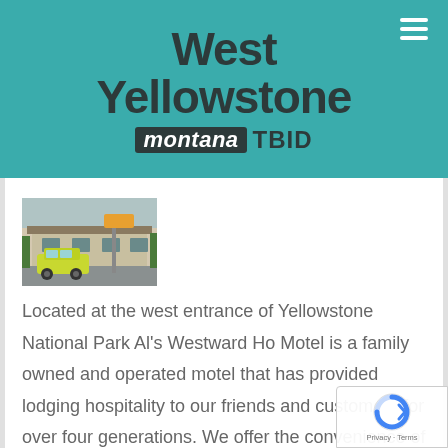West Yellowstone montana TBID
[Figure (photo): Thumbnail photo of a yellow vintage car parked outside a motel building]
Located at the west entrance of Yellowstone National Park Al's Westward Ho Motel is a family owned and operated motel that has provided lodging hospitality to our friends and customers for over four generations. We offer the convenience of walking or bicycling on the secluded trails a short distance to Yellowstone's famous Madison River. The HA4 The t